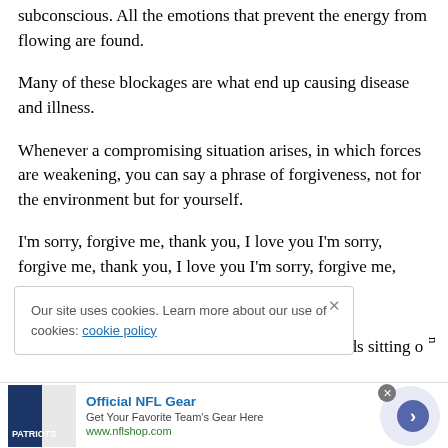subconscious. All the emotions that prevent the energy from flowing are found.
Many of these blockages are what end up causing disease and illness.
Whenever a compromising situation arises, in which forces are weakening, you can say a phrase of forgiveness, not for the environment but for yourself.
I'm sorry, forgive me, thank you, I love you I'm sorry, forgive me, thank you, I love you I'm sorry, forgive me,
Our site uses cookies. Learn more about our use of cookies: cookie policy
nds sitting on
[Figure (screenshot): Advertisement banner for Official NFL Gear with jersey image, title 'Official NFL Gear', subtitle 'Get Your Favorite Team's Gear Here', URL 'www.nflshop.com', and a circular button with a right arrow.]